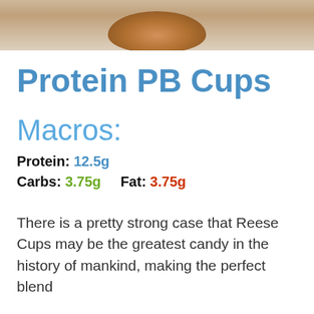[Figure (photo): Photo of protein peanut butter cups, food item visible at top of page]
Protein PB Cups
Macros:
Protein: 12.5g
Carbs: 3.75g     Fat: 3.75g
There is a pretty strong case that Reese Cups may be the greatest candy in the history of mankind, making the perfect blend